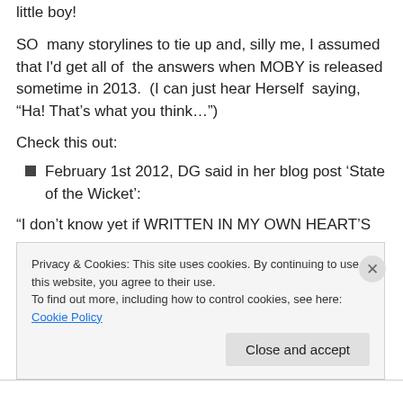little boy!
SO  many storylines to tie up and, silly me, I assumed that I'd get all of  the answers when MOBY is released sometime in 2013.  (I can just hear Herself  saying, “Ha! That’s what you think…”)
Check this out:
February 1st 2012, DG said in her blog post ‘State of the Wicket’:
“I don’t know yet if WRITTEN IN MY OWN HEART’S
Privacy & Cookies: This site uses cookies. By continuing to use this website, you agree to their use.
To find out more, including how to control cookies, see here: Cookie Policy
Close and accept